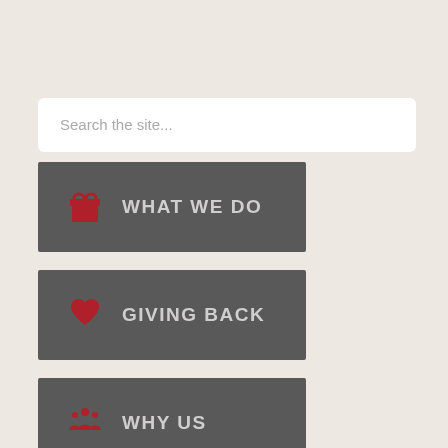Search the site...
WHAT WE DO
GIVING BACK
WHY US